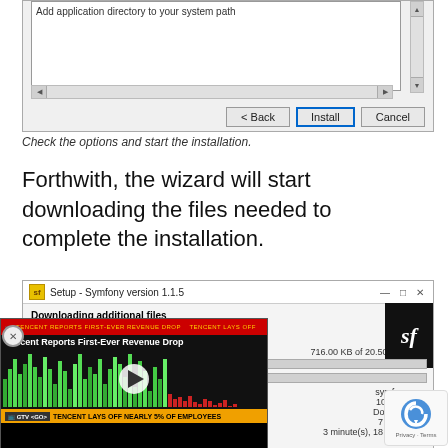[Figure (screenshot): Windows installer dialog partial view showing a text area with 'Add application directory to your system path', horizontal and vertical scrollbars, and Back, Install, Cancel buttons at the bottom.]
Check the options and start the installation.
Forthwith, the wizard will start downloading the files needed to complete the installation.
[Figure (screenshot): Setup - Symfony version 1.1.5 dialog showing 'Downloading additional files' with progress bars, sf logo, and file download info: 716.00 KB of 20.50 MB (3%), symfony.exe, 102.29 KB/s, Downloading, 7 second(s), 3 minute(s), 18 second(s). Overlaid by a Tencent news video thumbnail and reCAPTCHA badge.]